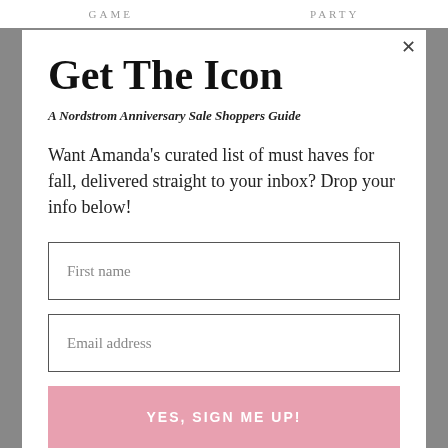GAME    PARTY
Get The Icon
A Nordstrom Anniversary Sale Shoppers Guide
Want Amanda's curated list of must haves for fall, delivered straight to your inbox? Drop your info below!
First name
Email address
YES, SIGN ME UP!